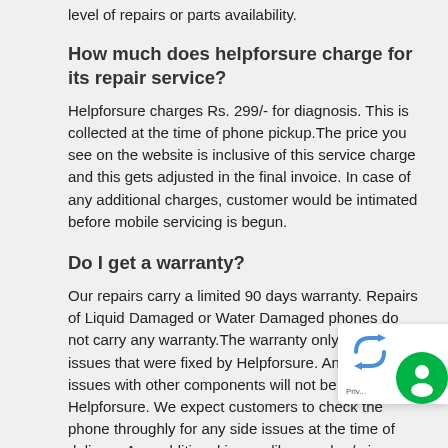level of repairs or parts availability.
How much does helpforsure charge for its repair service?
Helpforsure charges Rs. 299/- for diagnosis. This is collected at the time of phone pickup.The price you see on the website is inclusive of this service charge and this gets adjusted in the final invoice. In case of any additional charges, customer would be intimated before mobile servicing is begun.
Do I get a warranty?
Our repairs carry a limited 90 days warranty. Repairs of Liquid Damaged or Water Damaged phones do not carry any warranty.The warranty only covers issues that were fixed by Helpforsure. Any other issues with other components will not be covered by Helpforsure. We expect customers to check the phone throughly for any side issues at the time of delivery. Any additional issues like speaker/mic issues or network issues should be reported within 24 hours of delivering the devi
How can I check if my mobile is under warranty by